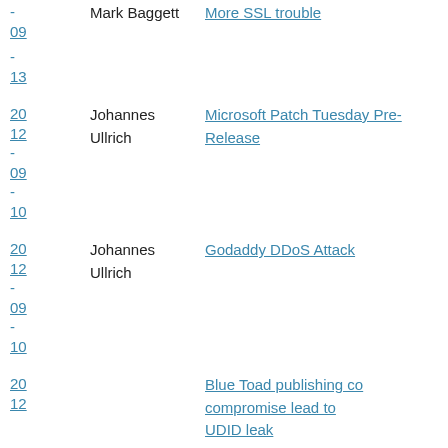- 09 | Mark Baggett | More SSL trouble
- 13
20 12 - 09 - 10 | Johannes Ullrich | Microsoft Patch Tuesday Pre-Release
20 12 - 09 - 10 | Johannes Ullrich | Godaddy DDoS Attack
20 12 - | Blue Toad publishing co compromise lead to UDID leak